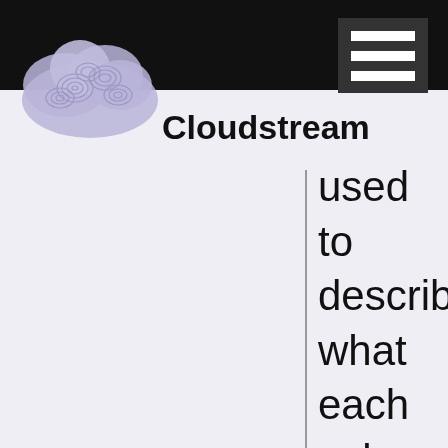Cloudstream
used to describe what each color and style